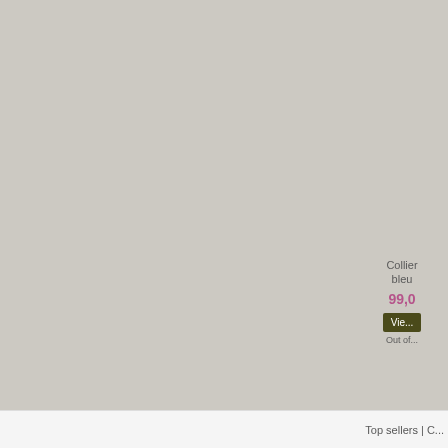Collier bleu
99,0
Vie...
Out of...
Top sellers | C...